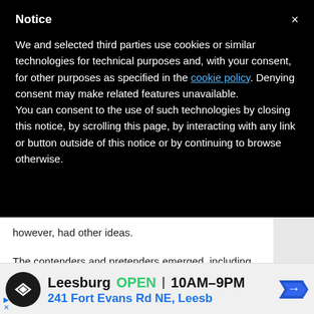Notice
We and selected third parties use cookies or similar technologies for technical purposes and, with your consent, for other purposes as specified in the cookie policy. Denying consent may make related features unavailable.
You can consent to the use of such technologies by closing this notice, by scrolling this page, by interacting with any link or button outside of this notice or by continuing to browse otherwise.
however, had other ideas.
The contenders and pretenders emerged, including Brazil, Mexico, U.S. and Canada.
Leesburg  OPEN  10AM–9PM
241 Fort Evans Rd NE, Leesb